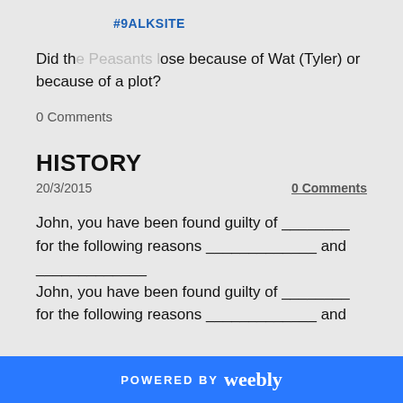#9ALKSITE
Did the Peasants lose because of Wat (Tyler) or because of a plot?
0 Comments
HISTORY
20/3/2015
0 Comments
John, you have been found guilty of ________ for the following reasons _____________ and _____________
John, you have been found guilty of ________ for the following reasons _____________ and
POWERED BY weebly